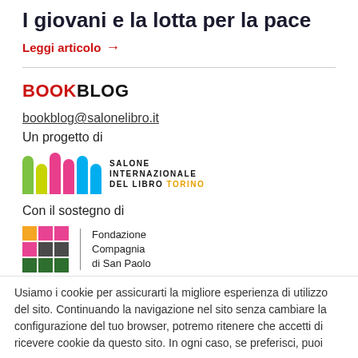I giovani e la lotta per la pace
Leggi articolo →
BOOKBLOG
bookblog@salonelibro.it
Un progetto di
[Figure (logo): Salone Internazionale del Libro Torino logo with colored vertical bars]
Con il sostegno di
[Figure (logo): Fondazione Compagnia di San Paolo logo with colored squares grid]
Usiamo i cookie per assicurarti la migliore esperienza di utilizzo del sito. Continuando la navigazione nel sito senza cambiare la configurazione del tuo browser, potremo ritenere che accetti di ricevere cookie da questo sito. In ogni caso, se preferisci, puoi